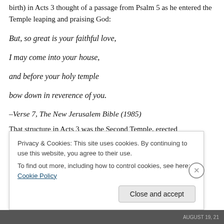birth) in Acts 3 thought of a passage from Psalm 5 as he entered the Temple leaping and praising God:
But, so great is your faithful love,
I may come into your house,
and before your holy temple
bow down in reverence of you.
–Verse 7, The New Jerusalem Bible (1985)
That structure in Acts 3 was the Second Temple, erected
Privacy & Cookies: This site uses cookies. By continuing to use this website, you agree to their use.
To find out more, including how to control cookies, see here: Cookie Policy